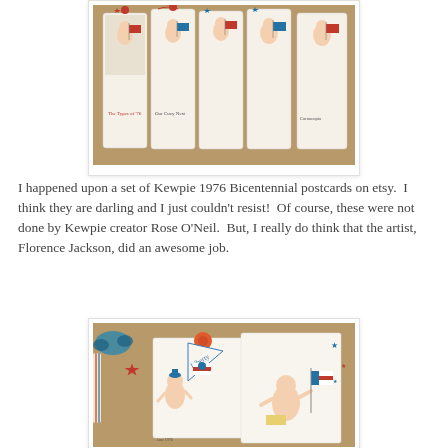[Figure (photo): Photo of Kewpie 1976 Bicentennial postcards laid out on a surface, decorated with red and blue patriotic embellishments, stars, and buttons.]
I happened upon a set of Kewpie 1976 Bicentennial postcards on etsy.  I  think they are darling and I just couldn't resist!  Of course, these were not done by Kewpie creator Rose O'Neil.  But, I really do think that the artist, Florence Jackson, did an awesome job.
[Figure (photo): Close-up photo of Kewpie 1976 Bicentennial postcards showing Kewpie figures with American flags, a red star, ribbons, and a 'Liberty' banner, with patriotic red, white, and blue decorations.]